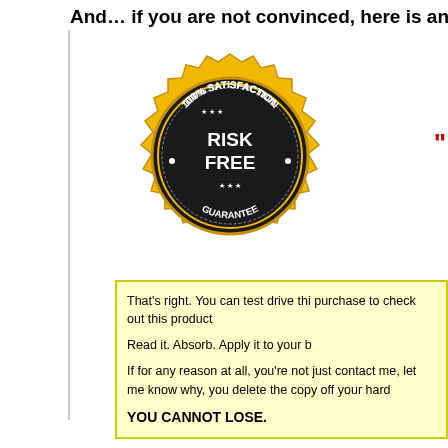And… if you are not convinced, here is an insane gua
[Figure (illustration): Gold 100% Satisfaction Risk Free Guarantee seal badge with dark center ring and star decorations]
"
That's right. You can test drive thi purchase to check out this product

Read it. Absorb. Apply it to your b

If for any reason at all, you're not just contact me, let me know why, you delete the copy off your hard

YOU CANNOT LOSE.